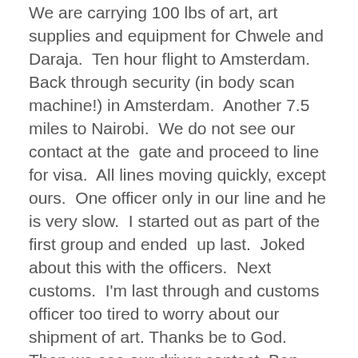We are carrying 100 lbs of art, art supplies and equipment for Chwele and Daraja.  Ten hour flight to Amsterdam.  Back through security (in body scan machine!) in Amsterdam.  Another 7.5 miles to Nairobi.  We do not see our contact at the  gate and proceed to line for visa.  All lines moving quickly, except ours.  One officer only in our line and he is very slow.  I started out as part of the first group and ended  up last.  Joked about this with the officers.  Next customs.  I'm last through and customs officer too tired to worry about our shipment of art. Thanks be to God.  Then we see our driver contact, Ben.  Ben drives us to Rose and Justus home.  Julie and I will share bed and bath while there.  They are very generous and have tea and refreshment for us. It is now the evening of Tuesday, Oct. 18 since we have travelled through several time zones.
Wednesday, October 18: